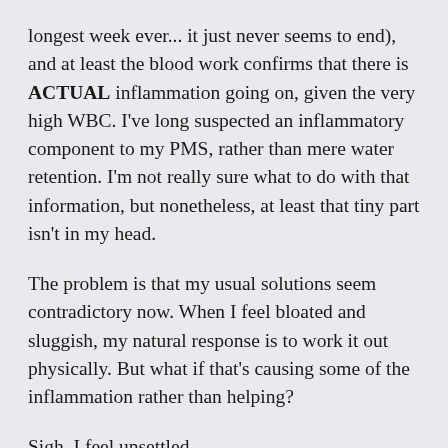longest week ever... it just never seems to end), and at least the blood work confirms that there is ACTUAL inflammation going on, given the very high WBC. I've long suspected an inflammatory component to my PMS, rather than mere water retention. I'm not really sure what to do with that information, but nonetheless, at least that tiny part isn't in my head.
The problem is that my usual solutions seem contradictory now. When I feel bloated and sluggish, my natural response is to work it out physically. But what if that's causing some of the inflammation rather than helping?
Sigh. I feel unsettled.
Day 50.